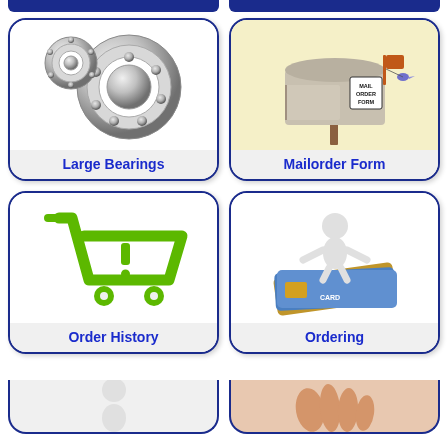[Figure (illustration): Partial top of two navigation cards cut off at top of page]
[Figure (illustration): Card with ball bearings image labeled Large Bearings]
[Figure (illustration): Card with mailbox and mail order form image labeled Mailorder Form]
[Figure (illustration): Card with green shopping cart icon labeled Order History]
[Figure (illustration): Card with 3D figure standing on credit cards labeled Ordering]
[Figure (illustration): Partial bottom of two navigation cards cut off at bottom of page]